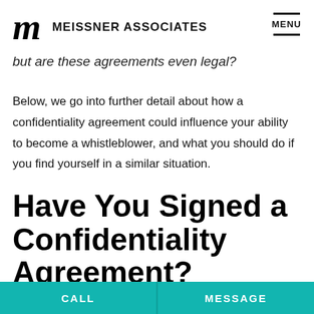MEISSNER ASSOCIATES
but are these agreements even legal?
Below, we go into further detail about how a confidentiality agreement could influence your ability to become a whistleblower, and what you should do if you find yourself in a similar situation.
Have You Signed a Confidentiality Agreement?
CALL | MESSAGE